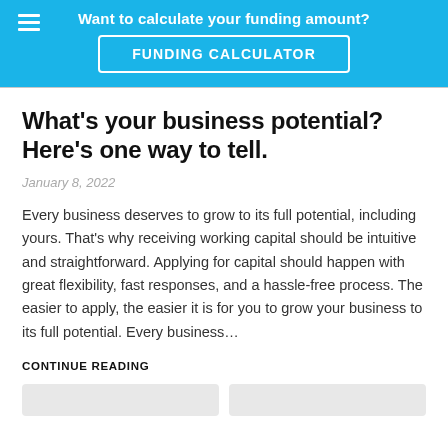Want to calculate your funding amount?
FUNDING CALCULATOR
What's your business potential? Here's one way to tell.
January 8, 2022
Every business deserves to grow to its full potential, including yours. That's why receiving working capital should be intuitive and straightforward. Applying for capital should happen with great flexibility, fast responses, and a hassle-free process. The easier to apply, the easier it is for you to grow your business to its full potential. Every business…
CONTINUE READING